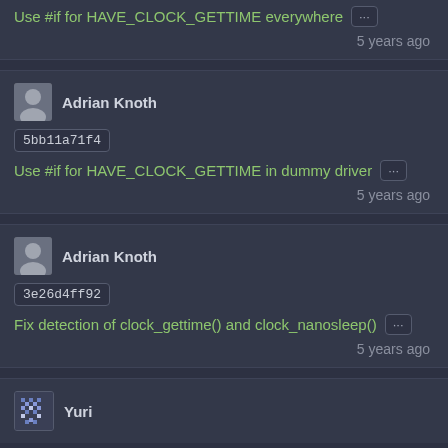Use #if for HAVE_CLOCK_GETTIME everywhere
5 years ago
Adrian Knoth
5bb11a71f4
Use #if for HAVE_CLOCK_GETTIME in dummy driver
5 years ago
Adrian Knoth
3e26d4ff92
Fix detection of clock_gettime() and clock_nanosleep()
5 years ago
Yuri